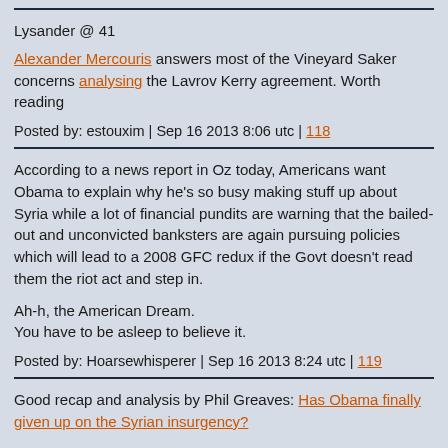Lysander @ 41
Alexander Mercouris answers most of the Vineyard Saker concerns analysing the Lavrov Kerry agreement. Worth reading
Posted by: estouxim | Sep 16 2013 8:06 utc | 118
According to a news report in Oz today, Americans want Obama to explain why he's so busy making stuff up about Syria while a lot of financial pundits are warning that the bailed-out and unconvicted banksters are again pursuing policies which will lead to a 2008 GFC redux if the Govt doesn't read them the riot act and step in.

Ah-h, the American Dream.
You have to be asleep to believe it.
Posted by: Hoarsewhisperer | Sep 16 2013 8:24 utc | 119
Good recap and analysis by Phil Greaves: Has Obama finally given up on the Syrian insurgency?
Answer: Yes. For now ...